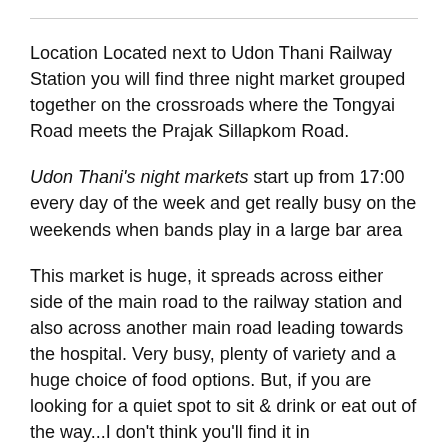Location Located next to Udon Thani Railway Station you will find three night market grouped together on the crossroads where the Tongyai Road meets the Prajak Sillapkom Road.
Udon Thani's night markets start up from 17:00 every day of the week and get really busy on the weekends when bands play in a large bar area
This market is huge, it spreads across either side of the main road to the railway station and also across another main road leading towards the hospital. Very busy, plenty of variety and a huge choice of food options. But, if you are looking for a quiet spot to sit & drink or eat out of the way...I don't think you'll find it in